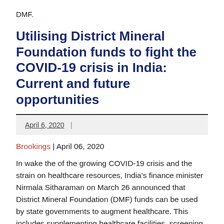DMF.
Utilising District Mineral Foundation funds to fight the COVID-19 crisis in India: Current and future opportunities
April 6, 2020  |
Brookings | April 06, 2020
In wake the of the growing COVID-19 crisis and the strain on healthcare resources, India's finance minister Nirmala Sitharaman on March 26 announced that District Mineral Foundation (DMF) funds can be used by state governments to augment healthcare. This includes supplementing healthcare facilities, screening and